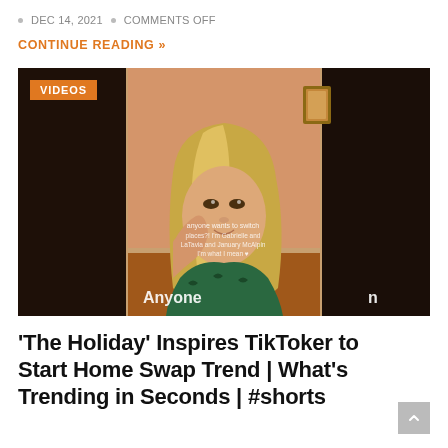DEC 14, 2021 · COMMENTS OFF
CONTINUE READING »
[Figure (screenshot): TikTok video screenshot showing a young blonde woman leaning on her hand, smiling at camera with text overlay reading 'Anyone' at the bottom. A 'VIDEOS' badge appears in the top-left corner.]
'The Holiday' Inspires TikToker to Start Home Swap Trend | What's Trending in Seconds | #shorts